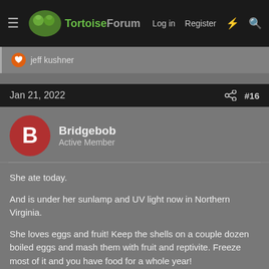TortoiseForum — Log in | Register
jeff kushner
Jan 21, 2022  #16
Bridgebob
Active Member
She ate today.
And is under her sunlamp and UV light now in Northern Virginia.
She loves eggs and fruit! Keep the shells on a couple dozen boiled eggs and mash them with fruit and reptivite. Freeze most of it and you have food for a whole year!
I put greens in the mixture also.